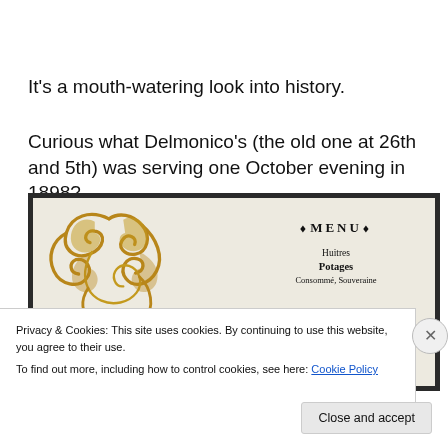It's a mouth-watering look into history.
Curious what Delmonico's (the old one at 26th and 5th) was serving one October evening in 1898?
[Figure (photo): Photograph of an antique Delmonico's restaurant menu card from 1898, showing ornate gold baroque scrollwork decoration on the left, a monogram 'DG', and on the right the text: MENU, Huitres, Potages, Consommé, Souveraine]
Privacy & Cookies: This site uses cookies. By continuing to use this website, you agree to their use.
To find out more, including how to control cookies, see here: Cookie Policy
Close and accept